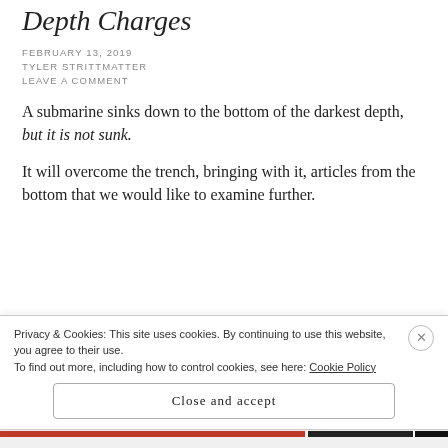Depth Charges
FEBRUARY 13, 2019
TYLER STRITTMATTER
LEAVE A COMMENT
A submarine sinks down to the bottom of the darkest depth, but it is not sunk.
It will overcome the trench, bringing with it, articles from the bottom that we would like to examine further.
Privacy & Cookies: This site uses cookies. By continuing to use this website, you agree to their use. To find out more, including how to control cookies, see here: Cookie Policy
Close and accept